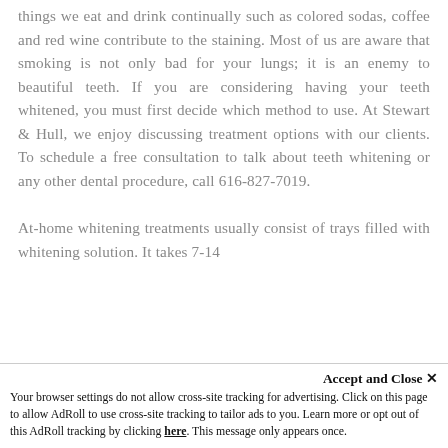things we eat and drink continually such as colored sodas, coffee and red wine contribute to the staining. Most of us are aware that smoking is not only bad for your lungs; it is an enemy to beautiful teeth. If you are considering having your teeth whitened, you must first decide which method to use. At Stewart & Hull, we enjoy discussing treatment options with our clients. To schedule a free consultation to talk about teeth whitening or any other dental procedure, call 616-827-7019.

At-home whitening treatments usually consist of trays filled with whitening solution. It takes 7-14
Accept and Close ×
Your browser settings do not allow cross-site tracking for advertising. Click on this page to allow AdRoll to use cross-site tracking to tailor ads to you. Learn more or opt out of this AdRoll tracking by clicking here. This message only appears once.